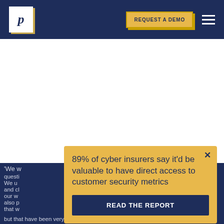p | REQUEST A DEMO
[Figure (screenshot): Website screenshot showing a partially visible article with dark navy background and partial text. A modal popup overlays the content with yellow background.]
'We w... questi... and cl... also p... that w... but that have been very useful to other customers of...
89% of cyber insurers say it'd be valuable to have direct access to customer security metrics
READ THE REPORT